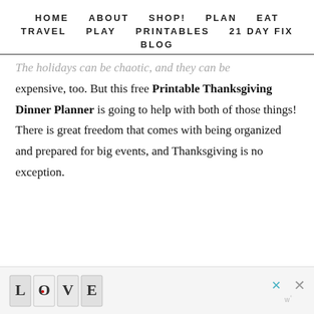HOME   ABOUT   SHOP!   PLAN   EAT
TRAVEL   PLAY   PRINTABLES   21 DAY FIX
BLOG
The holidays can be chaotic, and they can be expensive, too. But this free Printable Thanksgiving Dinner Planner is going to help with both of those things! There is great freedom that comes with being organized and prepared for big events, and Thanksgiving is no exception.
[Figure (other): Advertisement banner with decorative LOVE lettering and close buttons]